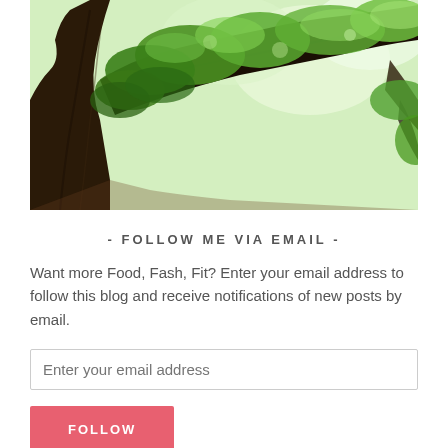[Figure (photo): Upward view of a large tree trunk with green leafy canopy against bright sky]
- FOLLOW ME VIA EMAIL -
Want more Food, Fash, Fit? Enter your email address to follow this blog and receive notifications of new posts by email.